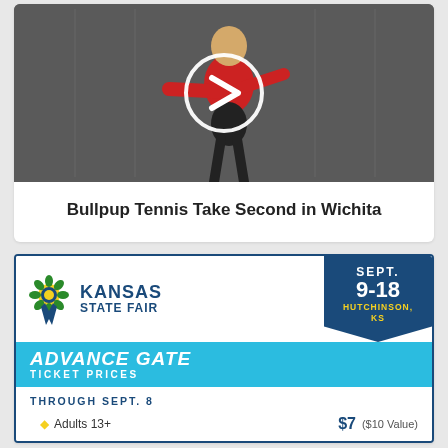[Figure (photo): Photo of a tennis player in red shirt with arms outstretched, with a circular play button overlay in the center]
Bullpup Tennis Take Second in Wichita
[Figure (infographic): Kansas State Fair advertisement showing logo with sunflower, dates Sept. 9-18 in Hutchinson KS, Advance Gate Ticket Prices, Through Sept. 8, Adults 13+ $7 ($10 Value)]